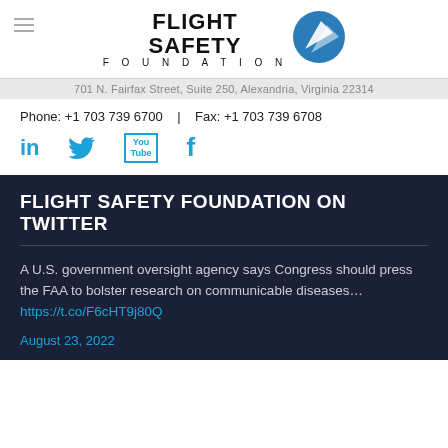[Figure (logo): Flight Safety Foundation logo with circular icon and text FLIGHT SAFETY FOUNDATION]
701 N. Fairfax Street, Suite 250, Alexandria, Virginia 22314
Phone: +1 703 739 6700   |   Fax: +1 703 739 6708
[Figure (infographic): Social media icons: LinkedIn, Twitter, YouTube, Facebook in blue]
FLIGHT SAFETY FOUNDATION ON TWITTER
A U.S. government oversight agency says Congress should press the FAA to bolster research on communicable diseases… https://t.co/F6cHT9j80Q
August 23, 2022